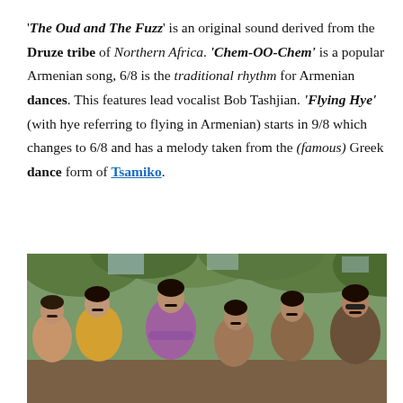'The Oud and The Fuzz' is an original sound derived from the Druze tribe of Northern Africa. 'Chem-OO-Chem' is a popular Armenian song, 6/8 is the traditional rhythm for Armenian dances. This features lead vocalist Bob Tashjian. 'Flying Hye' (with hye referring to flying in Armenian) starts in 9/8 which changes to 6/8 and has a melody taken from the (famous) Greek dance form of Tsamiko.
[Figure (photo): A group photo of several men with mustaches standing outdoors among green trees and foliage. The men are dressed in casual 1970s-style clothing.]